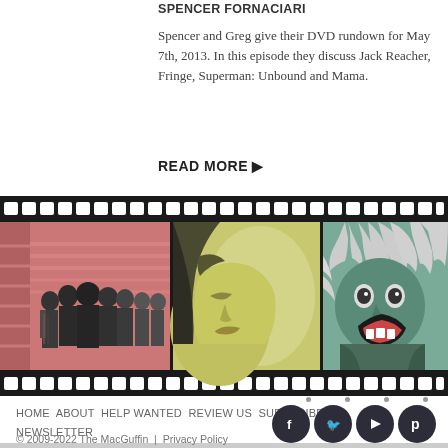SPENCER FORNACIARI
Spencer and Greg give their DVD rundown for May 7th, 2013. In this episode they discuss Jack Reacher, Fringe, Superman: Unbound and Mama.
READ MORE ▶
[Figure (illustration): Film strip banner with three illustrated movie/TV scenes: left panel shows a group of men in suits on pink/red background, center panel shows a couple kissing in yellow-green tones, right panel shows a wild-haired figure in teal/green tones. Classic film strip sprocket holes top and bottom.]
HOME ABOUT HELP WANTED REVIEW US SUBSCRIBE NEWSLETTER
© 2009-2022 The MacGuffin | Privacy Policy